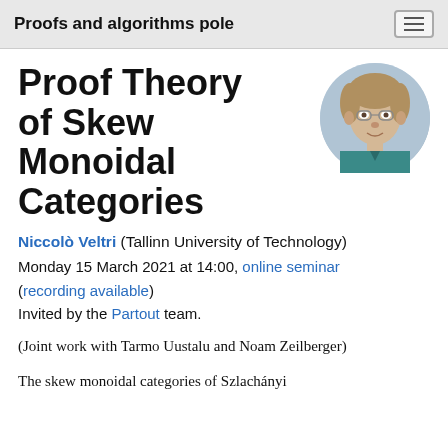Proofs and algorithms pole
Proof Theory of Skew Monoidal Categories
[Figure (photo): Circular profile photo of Niccolò Veltri, a young man with glasses and light brown hair, wearing a teal shirt, seated indoors.]
Niccolò Veltri (Tallinn University of Technology)
Monday 15 March 2021 at 14:00, online seminar (recording available)
Invited by the Partout team.
(Joint work with Tarmo Uustalu and Noam Zeilberger)
The skew monoidal categories of Szlachányi